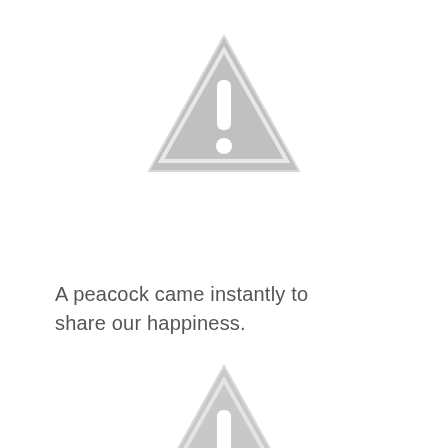[Figure (illustration): Gray warning triangle icon with exclamation mark, positioned near top center of page]
A peacock came instantly to share our happiness.
[Figure (illustration): Gray warning triangle icon with exclamation mark, partially visible at bottom center of page, cropped at bottom edge]